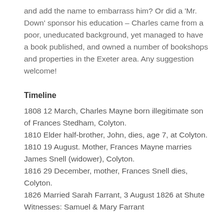and add the name to embarrass him? Or did a 'Mr. Down' sponsor his education – Charles came from a poor, uneducated background, yet managed to have a book published, and owned a number of bookshops and properties in the Exeter area. Any suggestion welcome!
Timeline
1808 12 March, Charles Mayne born illegitimate son of Frances Stedham, Colyton.
1810 Elder half-brother, John, dies, age 7, at Colyton.
1810 19 August. Mother, Frances Mayne marries James Snell (widower), Colyton.
1816 29 December, mother, Frances Snell dies, Colyton.
1826 Married Sarah Farrant, 3 August 1826 at Shute Witnesses: Samuel & Mary Farrant